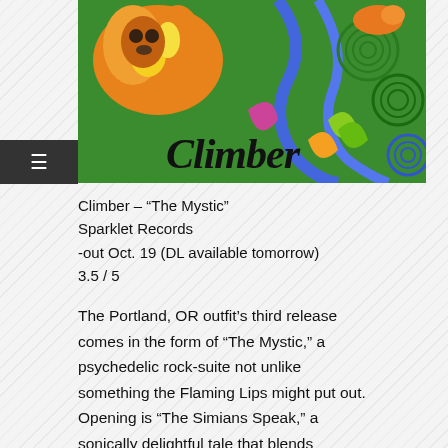[Figure (illustration): Colorful psychedelic album artwork for 'Climber - The Mystic' featuring abstract animals and plants in green, orange, yellow, and blue with the word 'Climber' in decorative script at the bottom left]
Climber – "The Mystic"
Sparklet Records
-out Oct. 19 (DL available tomorrow)
3.5 / 5
The Portland, OR outfit's third release comes in the form of "The Mystic," a psychedelic rock-suite not unlike something the Flaming Lips might put out. Opening is "The Simians Speak," a sonically delightful tale that blends philosophy with – indeed – sign-language talking monkeys. Before you run out screaming, let us say this: the paired down psychedelia joined with a deep,